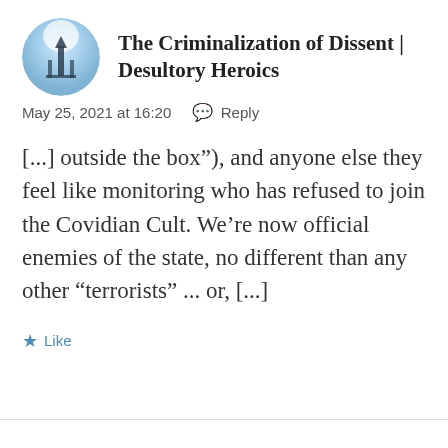[Figure (logo): Circular avatar/logo with a light blue and white gradient background featuring a dark monument or tower silhouette]
The Criminalization of Dissent | Desultory Heroics
May 25, 2021 at 16:20  💬 Reply
[...] outside the box"), and anyone else they feel like monitoring who has refused to join the Covidian Cult. We’re now official enemies of the state, no different than any other “terrorists” ... or, [...]
★ Like